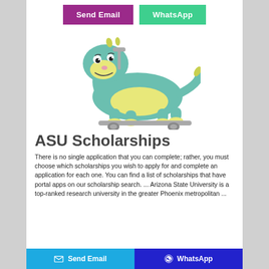[Figure (other): Two buttons: 'Send Email' (purple/magenta) and 'WhatsApp' (green teal)]
[Figure (photo): A stuffed plush toy dinosaur, green and yellow, on a ride-on base with wheels, smiling cartoon face]
ASU Scholarships
There is no single application that you can complete; rather, you must choose which scholarships you wish to apply for and complete an application for each one. You can find a list of scholarships that have portal apps on our scholarship search. ... Arizona State University is a top-ranked research university in the greater Phoenix metropolitan ...
[Figure (other): Bottom bar with two buttons: 'Send Email' (blue with envelope icon) and 'WhatsApp' (dark blue with WhatsApp icon)]